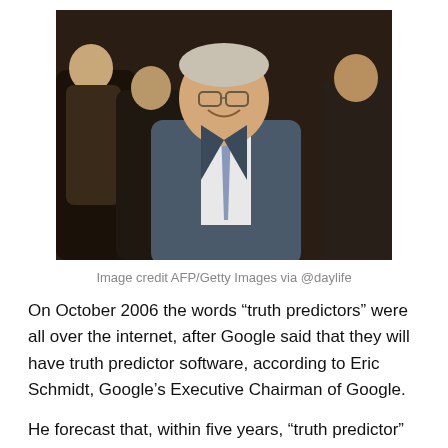[Figure (photo): Man in suit with glasses smiling, seated at what appears to be a formal hearing or event, with other people in suits visible in the background]
Image credit AFP/Getty Images via @daylife
On October 2006 the words “truth predictors” were all over the internet, after Google said that they will have truth predictor software, according to Eric Schmidt, Google’s Executive Chairman of Google.
He forecast that, within five years, “truth predictor” software would “hold politicians to account”. Voters would